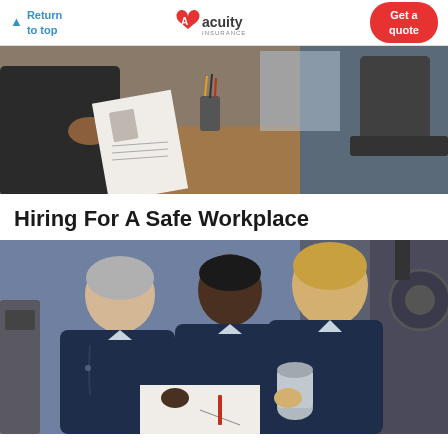Return to top | Acuity Insurance | Get a quote
[Figure (photo): A job interview scene with two people at a desk, one holding a CV resume document]
Hiring For A Safe Workplace
[Figure (photo): Three workers in navy blue coveralls in an industrial workshop, looking at documents and a metal component]